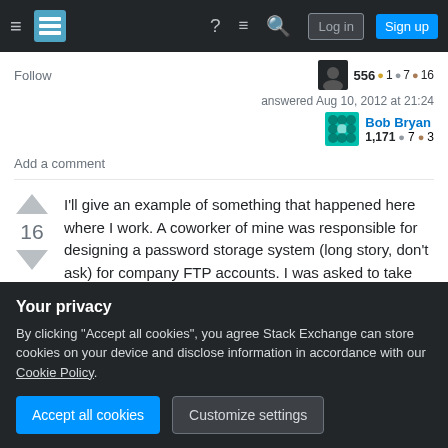Stack Exchange navigation bar with hamburger menu, logo, help, comments, search, Log in, Sign up
Follow
556  1  7  16
answered Aug 10, 2012 at 21:24
Bob Bryan  1,171  7  3
Add a comment
I'll give an example of something that happened here where I work. A coworker of mine was responsible for designing a password storage system (long story, don't ask) for company FTP accounts. I was asked to take over, and the first
Your privacy
By clicking "Accept all cookies", you agree Stack Exchange can store cookies on your device and disclose information in accordance with our Cookie Policy.
Accept all cookies
Customize settings
public String boolType(string encrypted)
{